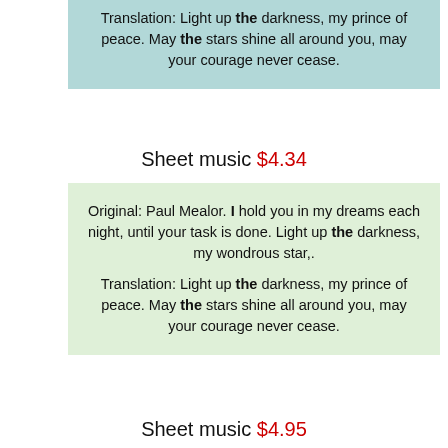Translation: Light up the darkness, my prince of peace. May the stars shine all around you, may your courage never cease.
Sheet music $4.34
Original: Paul Mealor. I hold you in my dreams each night, until your task is done. Light up the darkness, my wondrous star,.
Translation: Light up the darkness, my prince of peace. May the stars shine all around you, may your courage never cease.
Sheet music $4.95